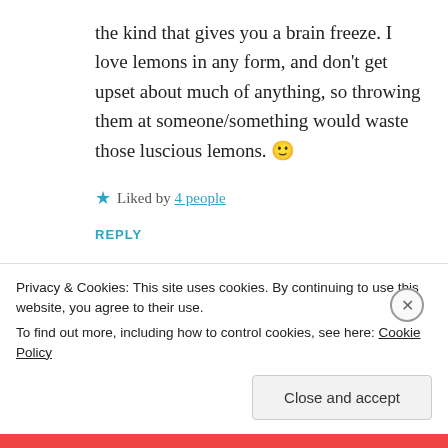the kind that gives you a brain freeze. I love lemons in any form, and don't get upset about much of anything, so throwing them at someone/something would waste those luscious lemons. 🙂
★ Liked by 4 people
REPLY
Quirky Girl
Privacy & Cookies: This site uses cookies. By continuing to use this website, you agree to their use.
To find out more, including how to control cookies, see here: Cookie Policy
Close and accept